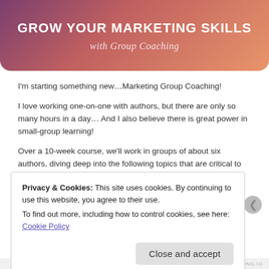[Figure (illustration): Gradient banner with purple-to-orange gradient background, rounded bottom corners, containing bold white uppercase title 'GROW YOUR MARKETING SKILLS' and italic subtitle 'with Group Coaching']
GROW YOUR MARKETING SKILLS
with Group Coaching
I'm starting something new…Marketing Group Coaching!
I love working one-on-one with authors, but there are only so many hours in a day… And I also believe there is great power in small-group learning!
Over a 10-week course, we'll work in groups of about six authors, diving deep into the following topics that are critical to effectively
Privacy & Cookies: This site uses cookies. By continuing to use this website, you agree to their use.
To find out more, including how to control cookies, see here: Cookie Policy
Close and accept
REDIRECTING.IO